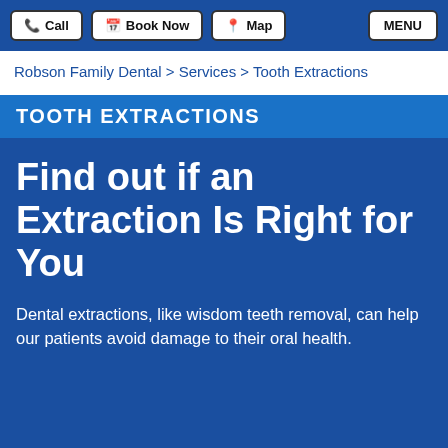Call | Book Now | Map | MENU
Robson Family Dental > Services > Tooth Extractions
TOOTH EXTRACTIONS
Find out if an Extraction Is Right for You
Dental extractions, like wisdom teeth removal, can help our patients avoid damage to their oral health.